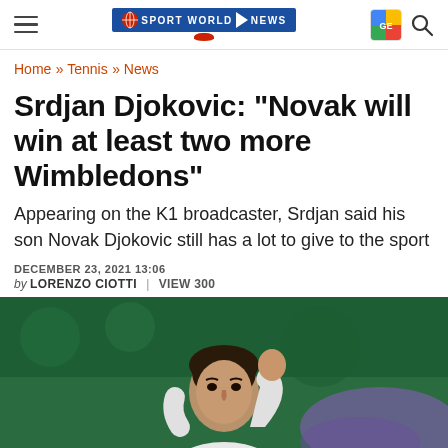Sport World News
Home » Tennis » News
Srdjan Djokovic: "Novak will win at least two more Wimbledons"
Appearing on the K1 broadcaster, Srdjan said his son Novak Djokovic still has a lot to give to the sport
DECEMBER 23, 2021 13:06
by LORENZO CIOTTI  |  VIEW 300
[Figure (photo): Novak Djokovic pumping his fist on a Wimbledon grass court, wearing white tennis outfit, green background with purple scoreboard visible]